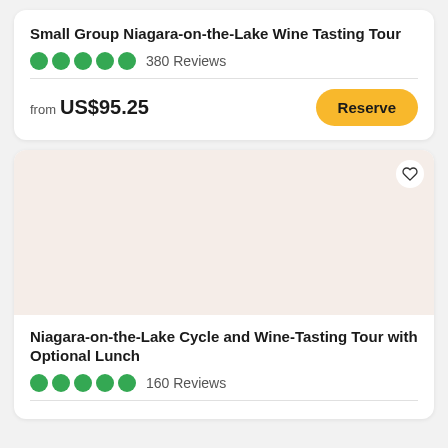Small Group Niagara-on-the-Lake Wine Tasting Tour
380 Reviews
from US$95.25
Reserve
[Figure (photo): Placeholder beige/pink image area for second listing card]
Niagara-on-the-Lake Cycle and Wine-Tasting Tour with Optional Lunch
160 Reviews